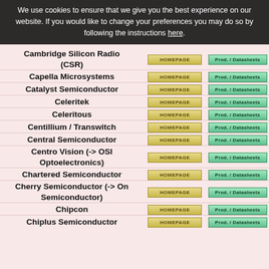We use cookies to ensure that we give you the best experience on our website. If you would like to change your preferences you may do so by following the instructions here.
| Company | Homepage | Prod. / Datasheets |
| --- | --- | --- |
| Cambridge Silicon Radio (CSR) | HOMEPAGE | Prod. / Datasheets |
| Capella Microsystems | HOMEPAGE | Prod. / Datasheets |
| Catalyst Semiconductor | HOMEPAGE | Prod. / Datasheets |
| Celeritek | HOMEPAGE | Prod. / Datasheets |
| Celeritous | HOMEPAGE | Prod. / Datasheets |
| Centillium / Transwitch | HOMEPAGE | Prod. / Datasheets |
| Central Semiconductor | HOMEPAGE | Prod. / Datasheets |
| Centro Vision (-> OSI Optoelectronics) | HOMEPAGE | Prod. / Datasheets |
| Chartered Semiconductor | HOMEPAGE | Prod. / Datasheets |
| Cherry Semiconductor (-> On Semiconductor) | HOMEPAGE | Prod. / Datasheets |
| Chipcon | HOMEPAGE | Prod. / Datasheets |
| Chiplus Semiconductor | HOMEPAGE | Prod. / Datasheets |